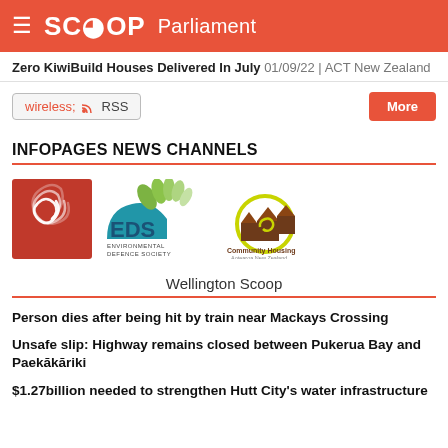SCOOP Parliament
Zero KiwiBuild Houses Delivered In July 01/09/22 | ACT New Zealand
RSS  More
INFOPAGES NEWS CHANNELS
[Figure (logo): Three logos: Scoop (red spiral on red background), EDS Environmental Defence Society (blue/green leaf design), Community Housing (brown houses with yellow circle)]
Wellington Scoop
Person dies after being hit by train near Mackays Crossing
Unsafe slip: Highway remains closed between Pukerua Bay and Paekākāriki
$1.27billion needed to strengthen Hutt City's water infrastructure